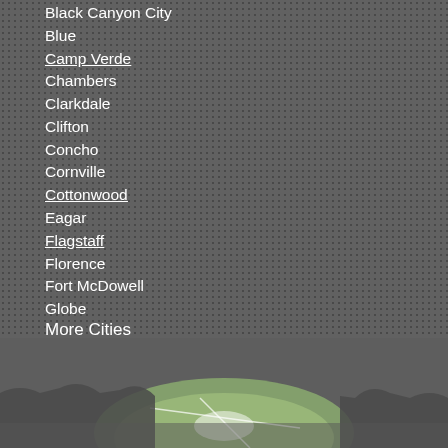Black Canyon City
Blue
Camp Verde
Chambers
Clarkdale
Clifton
Concho
Cornville
Cottonwood
Eagar
Flagstaff
Florence
Fort McDowell
Globe
More Cities
[Figure (map): Partial map showing lower portion of Arizona map with green/white terrain features and silhouetted figures at bottom]